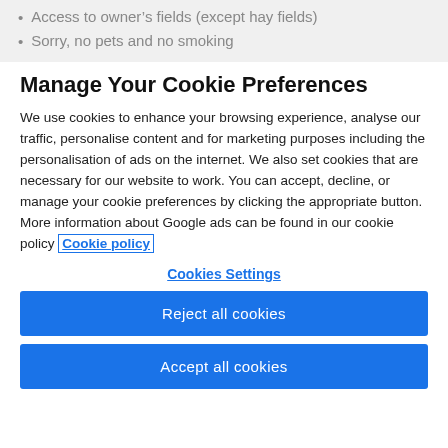Access to owner's fields (except hay fields)
Sorry, no pets and no smoking
Manage Your Cookie Preferences
We use cookies to enhance your browsing experience, analyse our traffic, personalise content and for marketing purposes including the personalisation of ads on the internet. We also set cookies that are necessary for our website to work. You can accept, decline, or manage your cookie preferences by clicking the appropriate button. More information about Google ads can be found in our cookie policy Cookie policy
Cookies Settings
Reject all cookies
Accept all cookies